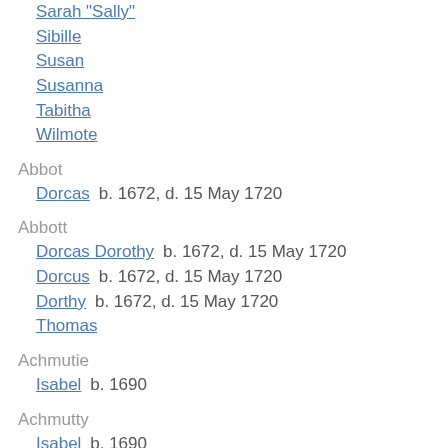Sarah "Sally"
Sibille
Susan
Susanna
Tabitha
Wilmote
Abbot
Dorcas  b. 1672, d. 15 May 1720
Abbott
Dorcas Dorothy  b. 1672, d. 15 May 1720
Dorcus  b. 1672, d. 15 May 1720
Dorthy  b. 1672, d. 15 May 1720
Thomas
Achmutie
Isabel  b. 1690
Achmutty
Isabel  b. 1690